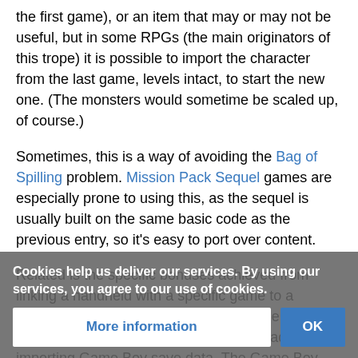the first game), or an item that may or may not be useful, but in some RPGs (the main originators of this trope) it is possible to import the character from the last game, levels intact, to start the new one. (The monsters would sometime be scaled up, of course.)
Sometimes, this is a way of avoiding the Bag of Spilling problem. Mission Pack Sequel games are especially prone to using this, as the sequel is usually built on the same basic code as the previous entry, so it's easy to port over content.
Related is the specific bonuses achieved from linking a handheld with a specific game to a console with another. This began with the N64 title Pokemon Stadium, which has a special adaptor for importing Game Boy save data. The Game Boy Advance system has a link cable for connecting to t... Nintendo DS
Cookies help us deliver our services. By using our services, you agree to our use of cookies.